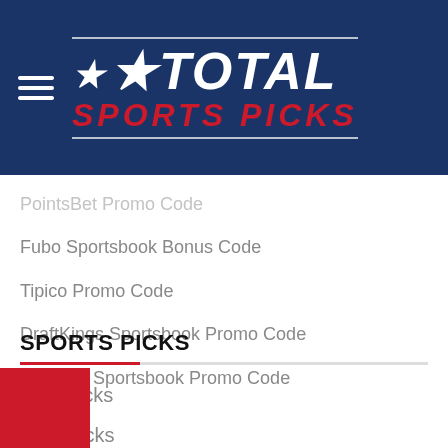[Figure (logo): Total Sports Picks logo: white star and TOTAL in white bold italic text, SPORTS PICKS in red bold italic text, on a dark navy blue background with horizontal rules above and below]
PointsBet Promo Code
Fubo Sportsbook Bonus Code
Tipico Promo Code
DraftKings Sportsbook Promo Code
FanDuel Sportsbook Promo Code
SPORTS PICKS
NBA Picks
MLB Picks
NFL Picks
Golf Picks
Soccer Picks
Picks
Picks